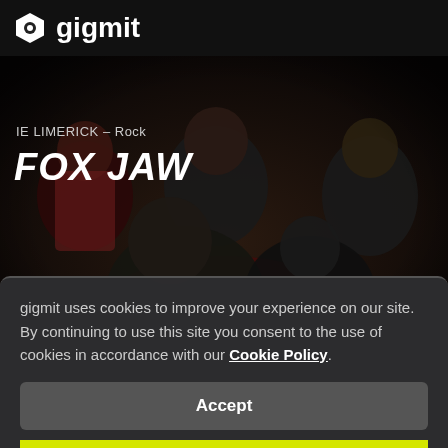gigmit
[Figure (photo): Band photo of Fox Jaw - five young men posed dramatically in dark studio lighting. One member in foreground leans forward, three sit on a red velvet couch in the middle, one stands on the right in a dotted shirt.]
IE LIMERICK – Rock
FOX JAW
gigmit uses cookies to improve your experience on our site. By continuing to use this site you consent to the use of cookies in accordance with our Cookie Policy.
Accept